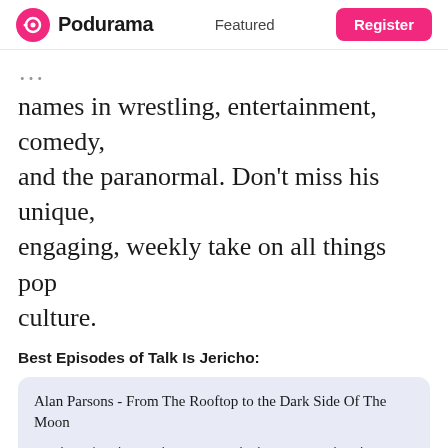Podurama   Featured   Register
names in wrestling, entertainment, comedy, and the paranormal. Don’t miss his unique, engaging, weekly take on all things pop culture.
Best Episodes of Talk Is Jericho:
Alan Parsons - From The Rooftop to the Dark Side Of The Moon
Producer/engineer Alan Parsons is the guy wearing the orange shirt, black tie and striped jacket in Peter Jackson’s “Get Back” documentary about The Beatles. Alan worked for Abbey Road Studios at the …